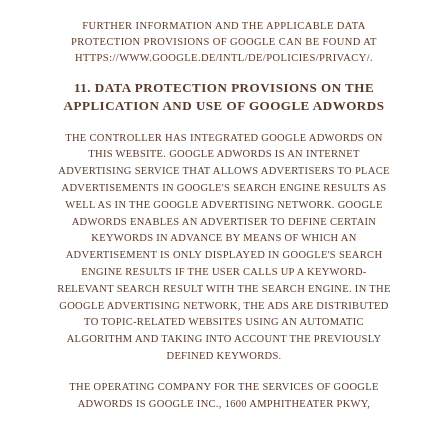FURTHER INFORMATION AND THE APPLICABLE DATA PROTECTION PROVISIONS OF GOOGLE CAN BE FOUND AT HTTPS://WWW.GOOGLE.DE/INTL/DE/POLICIES/PRIVACY/.
11. DATA PROTECTION PROVISIONS ON THE APPLICATION AND USE OF GOOGLE ADWORDS
THE CONTROLLER HAS INTEGRATED GOOGLE ADWORDS ON THIS WEBSITE. GOOGLE ADWORDS IS AN INTERNET ADVERTISING SERVICE THAT ALLOWS ADVERTISERS TO PLACE ADVERTISEMENTS IN GOOGLE'S SEARCH ENGINE RESULTS AS WELL AS IN THE GOOGLE ADVERTISING NETWORK. GOOGLE ADWORDS ENABLES AN ADVERTISER TO DEFINE CERTAIN KEYWORDS IN ADVANCE BY MEANS OF WHICH AN ADVERTISEMENT IS ONLY DISPLAYED IN GOOGLE'S SEARCH ENGINE RESULTS IF THE USER CALLS UP A KEYWORD-RELEVANT SEARCH RESULT WITH THE SEARCH ENGINE. IN THE GOOGLE ADVERTISING NETWORK, THE ADS ARE DISTRIBUTED TO TOPIC-RELATED WEBSITES USING AN AUTOMATIC ALGORITHM AND TAKING INTO ACCOUNT THE PREVIOUSLY DEFINED KEYWORDS.
THE OPERATING COMPANY FOR THE SERVICES OF GOOGLE ADWORDS IS GOOGLE INC., 1600 AMPHITHEATER PKWY,